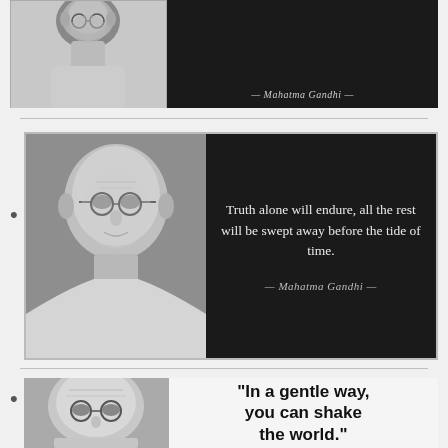[Figure (photo): Cropped quote card showing Gandhi portrait on left and black background with attribution '— Mahatma Gandhi —' on right, partially visible at top of page]
[Figure (photo): Quote card with Gandhi portrait photo on left half and black background on right showing quote: 'Truth alone will endure, all the rest will be swept away before the tide of time.' with attribution '— Mahatma Gandhi —']
[Figure (photo): Partially visible quote card showing close-up Gandhi portrait on left and light background on right with bold text: '"In a gentle way, you can shake the world."' (cropped)]